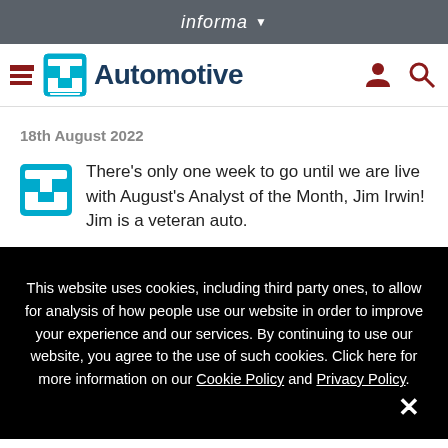informa
[Figure (logo): TU Automotive logo with hamburger menu, person icon, and search icon]
18th August 2022
There's only one week to go until we are live with August's Analyst of the Month, Jim Irwin! Jim is a veteran auto.
This website uses cookies, including third party ones, to allow for analysis of how people use our website in order to improve your experience and our services. By continuing to use our website, you agree to the use of such cookies. Click here for more information on our Cookie Policy and Privacy Policy.